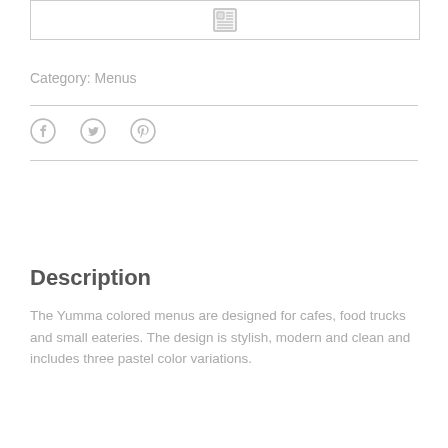[Figure (other): Image placeholder box with a small thumbnail/menu icon centered inside a bordered rectangle]
Category: Menus
[Figure (other): Social media icons: Facebook, Twitter, Pinterest]
Description
The Yumma colored menus are designed for cafes, food trucks and small eateries. The design is stylish, modern and clean and includes three pastel color variations.